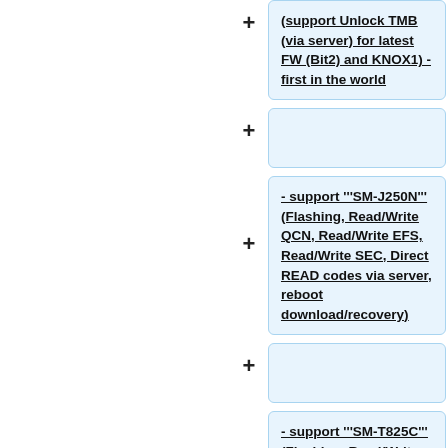(support Unlock TMB (via server) for latest FW (Bit2) and KNOX1) - first in the world
- support '''SM-J250N''' (Flashing, Read/Write QCN, Read/Write EFS, Read/Write SEC, Direct READ codes via server, reboot download/recovery)
- support '''SM-T825C''' (Flashing, Read/Write QCN, Read/Write EFS, Read/Write SEC, Direct READ codes via server, reboot